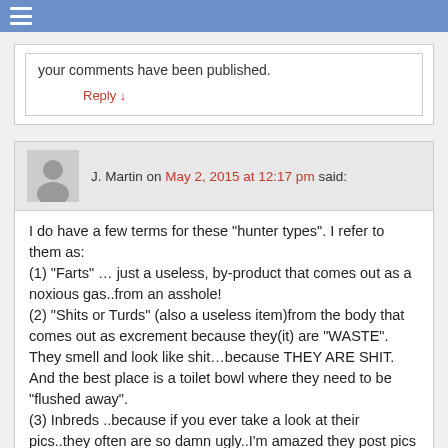your comments have been published.
Reply ↓
J. Martin on May 2, 2015 at 12:17 pm said:
I do have a few terms for these "hunter types". I refer to them as:
(1) "Farts" … just a useless, by-product that comes out as a noxious gas..from an asshole!
(2) "Shits or Turds" (also a useless item)from the body that comes out as excrement because they(it) are "WASTE". They smell and look like shit…because THEY ARE SHIT. And the best place is a toilet bowl where they need to be "flushed away".
(3) Inbreds ..because if you ever take a look at their pics..they often are so damn ugly..I'm amazed they post pics